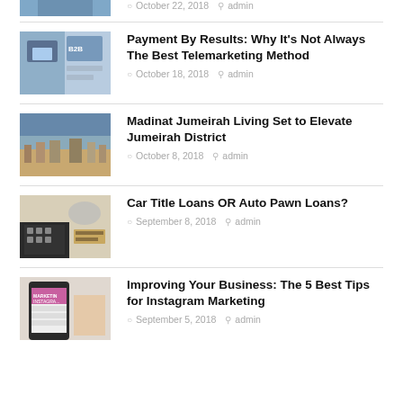[Figure (photo): Partial top image, person cropped]
October 22, 2018   admin
[Figure (photo): B2B phone/laptop image for Payment By Results article]
Payment By Results: Why It's Not Always The Best Telemarketing Method
October 18, 2018   admin
[Figure (photo): Aerial city/waterway image for Madinat Jumeirah article]
Madinat Jumeirah Living Set to Elevate Jumeirah District
October 8, 2018   admin
[Figure (photo): Calculator, glasses, money image for Car Title Loans article]
Car Title Loans OR Auto Pawn Loans?
September 8, 2018   admin
[Figure (photo): Phone showing Instagram marketing tips image]
Improving Your Business: The 5 Best Tips for Instagram Marketing
September 5, 2018   admin